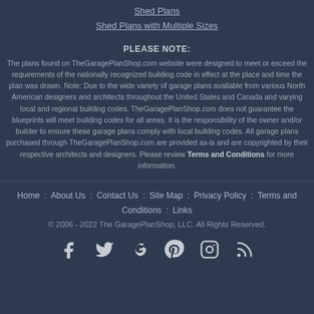Shed Plans
Shed Plans with Multiple Sizes
PLEASE NOTE:
The plans found on TheGaragePlanShop.com website were designed to meet or exceed the requirements of the nationally recognized building code in effect at the place and time the plan was drawn. Note: Due to the wide variety of garage plans available from various North American designers and architects throughout the United States and Canada and varying local and regional building codes, TheGaragePlanShop.com does not guarantee the blueprints will meet building codes for all areas. It is the responsibility of the owner and/or builder to ensure these garage plans comply with local building codes. All garage plans purchased through TheGaragePlanShop.com are provided as-is and are copyrighted by their respective architects and designers. Please review Terms and Conditions for more information.
Home : About Us : Contact Us : Site Map : Privacy Policy : Terms and Conditions : Links
© 2006 - 2022 The GaragePlanShop, LLC. All Rights Reserved.